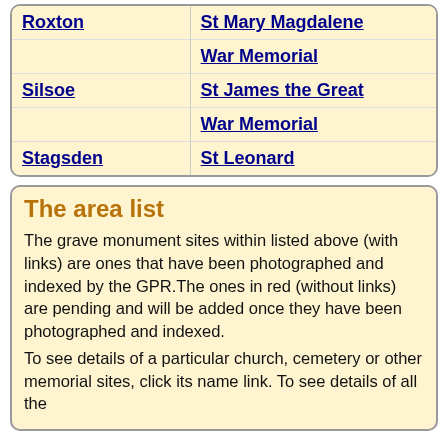| Location | Site |
| --- | --- |
| Roxton | St Mary Magdalene |
|  | War Memorial |
| Silsoe | St James the Great |
|  | War Memorial |
| Stagsden | St Leonard |
The area list
The grave monument sites within listed above (with links) are ones that have been photographed and indexed by the GPR.The ones in red (without links) are pending and will be added once they have been photographed and indexed.
To see details of a particular church, cemetery or other memorial sites, click its name link. To see details of all the